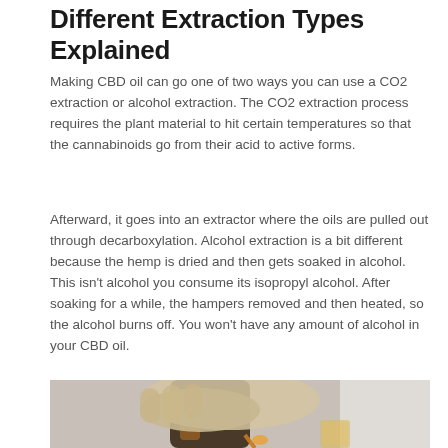Different Extraction Types Explained
Making CBD oil can go one of two ways you can use a CO2 extraction or alcohol extraction. The CO2 extraction process requires the plant material to hit certain temperatures so that the cannabinoids go from their acid to active forms.
Afterward, it goes into an extractor where the oils are pulled out through decarboxylation. Alcohol extraction is a bit different because the hemp is dried and then gets soaked in alcohol. This isn't alcohol you consume its isopropyl alcohol. After soaking for a while, the hampers removed and then heated, so the alcohol burns off. You won't have any amount of alcohol in your CBD oil.
[Figure (photo): A gloved hand pouring amber-colored CBD oil from a dark bottle into a small glass container]